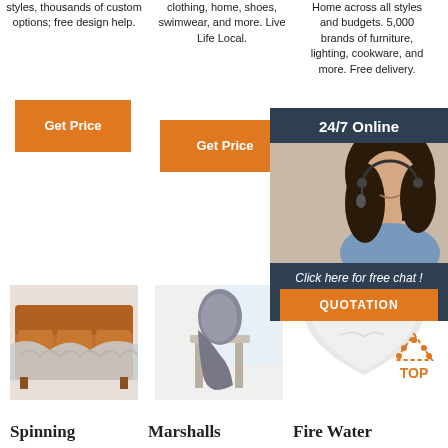styles, thousands of custom options; free design help.
clothing, home, shoes, swimwear, and more. Live Life Local.
Home across all styles and budgets. 5,000 brands of furniture, lighting, cookware, and more. Free delivery.
Get Price
Get Price
[Figure (photo): Customer service woman with headset, chat popup overlay with '24/7 Online', 'Click here for free chat!', 'QUOTATION' button]
Get Price (partially visible)
[Figure (photo): Orange leather sofa with fluffy sheepskin throw draped over it]
[Figure (photo): Gray sheepskin rug draped over a chair]
[Figure (photo): White fluffy heart-shaped sheepskin product]
Spinning
Marshalls
Fire Water